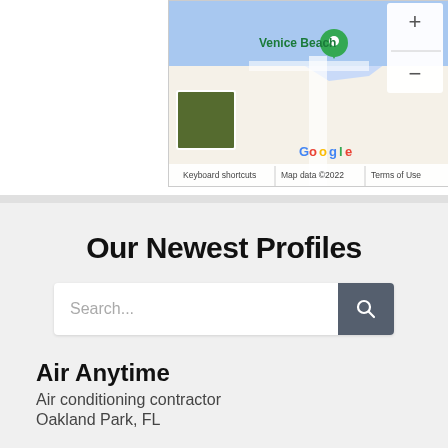[Figure (screenshot): Google Maps screenshot showing Venice Beach area with a green location pin, zoom controls (+/-), satellite thumbnail, Google logo, and footer text: Keyboard shortcuts | Map data ©2022 | Terms of Use]
Our Newest Profiles
Search...
Air Anytime
Air conditioning contractor
Oakland Park, FL